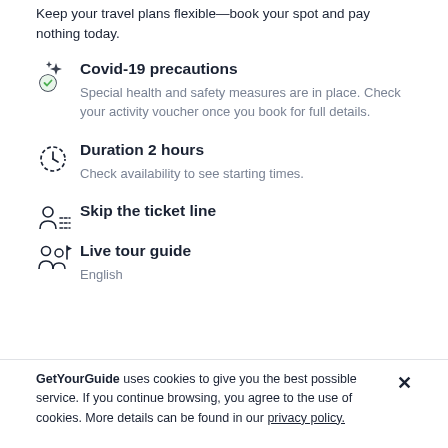Keep your travel plans flexible—book your spot and pay nothing today.
Covid-19 precautions
Special health and safety measures are in place. Check your activity voucher once you book for full details.
Duration 2 hours
Check availability to see starting times.
Skip the ticket line
Live tour guide
English
GetYourGuide uses cookies to give you the best possible service. If you continue browsing, you agree to the use of cookies. More details can be found in our privacy policy.